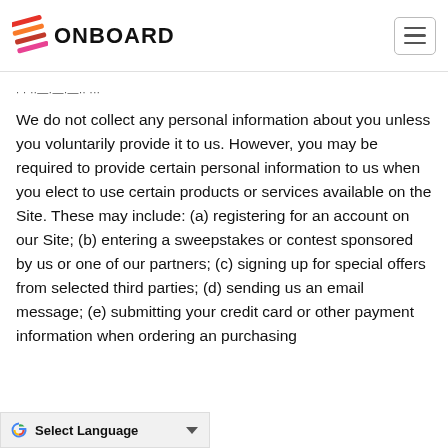ONBOARD
· · ··—·—·—·· ···
We do not collect any personal information about you unless you voluntarily provide it to us. However, you may be required to provide certain personal information to us when you elect to use certain products or services available on the Site. These may include: (a) registering for an account on our Site; (b) entering a sweepstakes or contest sponsored by us or one of our partners; (c) signing up for special offers from selected third parties; (d) sending us an email message; (e) submitting your credit card or other payment information when ordering an purchasing